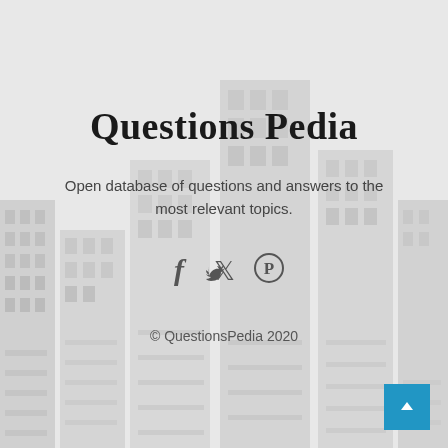[Figure (illustration): Gray city buildings silhouette background illustration covering the full page]
Questions Pedia
Open database of questions and answers to the most relevant topics.
[Figure (infographic): Social media icons: Facebook (f), Twitter (bird), Pinterest (P circle)]
© QuestionsPedia 2020